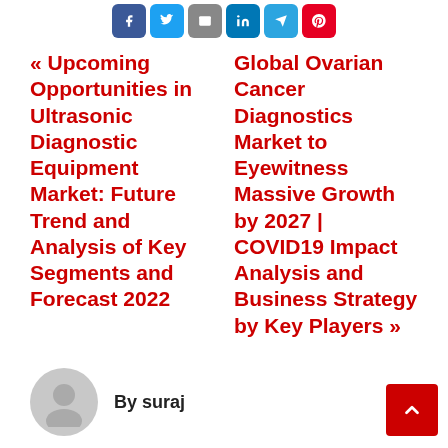[Figure (other): Social media share icons: Facebook (blue), Twitter (blue), Email (gray), LinkedIn (blue), Telegram (light blue), Pinterest (red)]
« Upcoming Opportunities in Ultrasonic Diagnostic Equipment Market: Future Trend and Analysis of Key Segments and Forecast 2022
Global Ovarian Cancer Diagnostics Market to Eyewitness Massive Growth by 2027 | COVID19 Impact Analysis and Business Strategy by Key Players »
By suraj